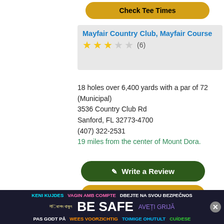Check Tee Times
Mayfair Country Club, Mayfair Course
★★★☆☆ (6)
18 holes over 6,400 yards with a par of 72 (Municipal)
3536 Country Club Rd
Sanford, FL 32773-4700
(407) 322-2531
19 miles from the center of Mount Dora.
Write a Review
Check Tee Times
Palmer Legends Country Club, Laurel Valley Course
★★☆☆☆ (2)
9 holes over 3,639 yards with a par of 36 (Public)
[Figure (infographic): BE SAFE multilingual safety advertisement banner with colorful text in multiple languages]